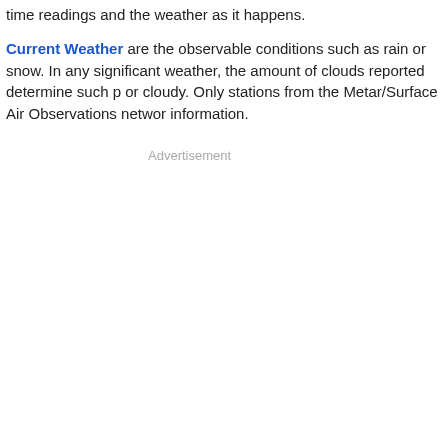time readings and the weather as it happens.
Current Weather are the observable conditions such as rain or snow. In any significant weather, the amount of clouds reported determine such p or cloudy. Only stations from the Metar/Surface Air Observations networ information.
Advertisement